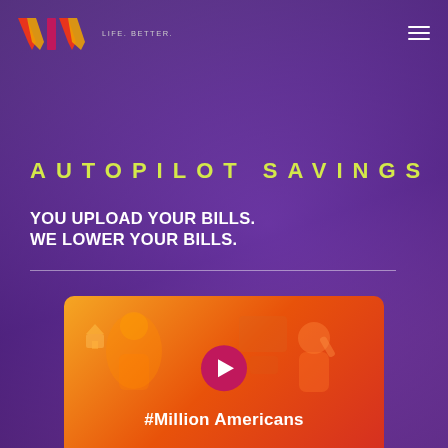[Figure (logo): VIV logo in red/orange with tagline LIFE. BETTER.]
AUTOPILOT SAVINGS
YOU UPLOAD YOUR BILLS.
WE LOWER YOUR BILLS.
[Figure (screenshot): Video thumbnail card with orange-to-red gradient background, decorative map/person illustration shapes, a pink play button in the center, and text '#Million Americans' at the bottom]